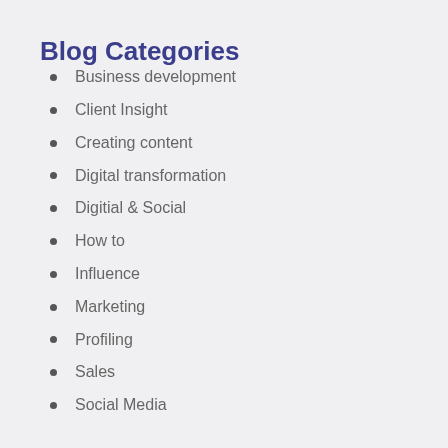Blog Categories
Business development
Client Insight
Creating content
Digital transformation
Digitial & Social
How to
Influence
Marketing
Profiling
Sales
Social Media